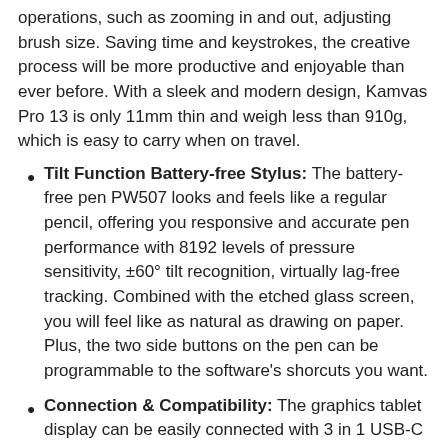operations, such as zooming in and out, adjusting brush size. Saving time and keystrokes, the creative process will be more productive and enjoyable than ever before. With a sleek and modern design, Kamvas Pro 13 is only 11mm thin and weigh less than 910g, which is easy to carry when on travel.
Tilt Function Battery-free Stylus: The battery-free pen PW507 looks and feels like a regular pencil, offering you responsive and accurate pen performance with 8192 levels of pressure sensitivity, ±60° tilt recognition, virtually lag-free tracking. Combined with the etched glass screen, you will feel like as natural as drawing on paper. Plus, the two side buttons on the pen can be programmable to the software's shorcuts you want.
Connection & Compatibility: The graphics tablet display can be easily connected with 3 in 1 USB-C cable (HDMI signal) to your computer & laptops that run Linux(Ubuntu), Windows 7 or later, MacOS 10.12 or later. It is well compatible with most softwares like Adobe Photoshop, Lightroom, Clip Studio Paint, SAI, etc. No matter you're interior designers, 3D animators, illustrators, film-makers or art students, Kamvas Pro 13 is the perfect tool to bring your vision to life.